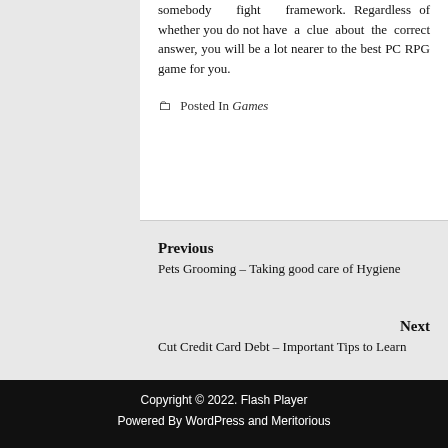somebody fight framework. Regardless of whether you do not have a clue about the correct answer, you will be a lot nearer to the best PC RPG game for you.
Posted In Games
Previous
Pets Grooming – Taking good care of Hygiene
Next
Cut Credit Card Debt – Important Tips to Learn
Copyright © 2022. Flash Player
Powered By WordPress and Meritorious